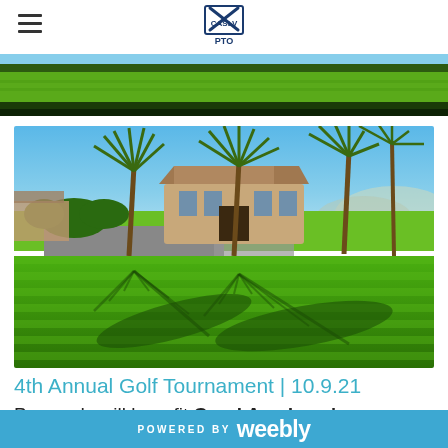CASLV PTO logo and hamburger menu
[Figure (photo): Partial top image of a golf course showing green fairway grass and dark green background strip]
[Figure (photo): Aerial photo of a golf club resort with palm trees casting shadows on a bright green fairway, clubhouse building in the background, clear blue sky]
4th Annual Golf Tournament | 10.9.21
Proceeds will benefit Coral Academy's
POWERED BY weebly